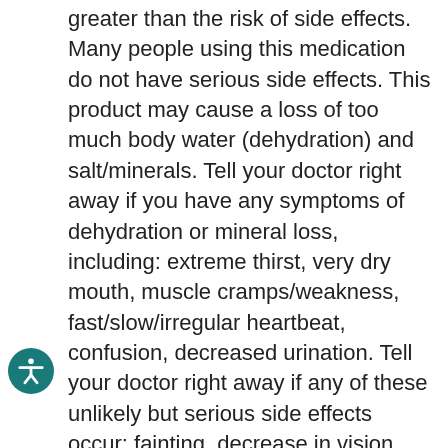greater than the risk of side effects. Many people using this medication do not have serious side effects. This product may cause a loss of too much body water (dehydration) and salt/minerals. Tell your doctor right away if you have any symptoms of dehydration or mineral loss, including: extreme thirst, very dry mouth, muscle cramps/weakness, fast/slow/irregular heartbeat, confusion, decreased urination. Tell your doctor right away if any of these unlikely but serious side effects occur: fainting, decrease in vision, eye pain, symptoms of a high potassium blood level (such as muscle weakness, slow/irregular heartbeat). A very serious allergic reaction to this drug is rare. However, get medical help right away if you notice any symptoms of a serious allergic reaction, including: rash, itching/swelling (especially of the face/tongue/throat), severe dizziness, trouble breathing. This is not a complete list of possible side effects. If you notice other effects not listed above, contact your doctor or pharmacist. In the US - Call your doctor for medical advice about side effects. You may report side effects